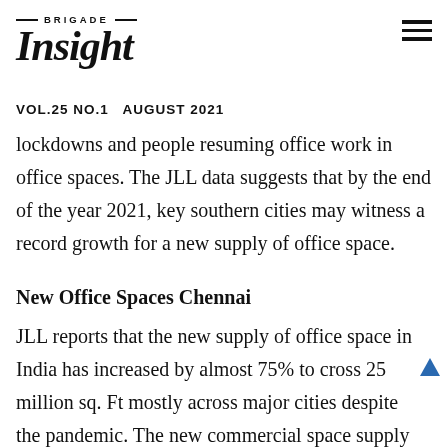BRIGADE Insight VOL.25 NO.1 AUGUST 2021
lockdowns and people resuming office work in office spaces. The JLL data suggests that by the end of the year 2021, key southern cities may witness a record growth for a new supply of office space.
New Office Spaces Chennai
JLL reports that the new supply of office space in India has increased by almost 75% to cross 25 million sq. Ft mostly across major cities despite the pandemic. The new commercial space supply was 25.11 million square ft. In 2021, in cities Mumbai